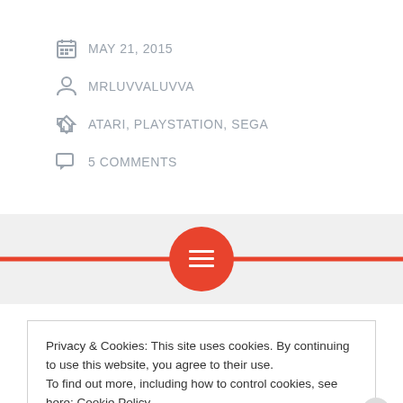MAY 21, 2015
MRLUVVALUVVA
ATARI, PLAYSTATION, SEGA
5 COMMENTS
[Figure (other): Red horizontal divider line with red circle icon containing a menu/list symbol in the center]
Privacy & Cookies: This site uses cookies. By continuing to use this website, you agree to their use. To find out more, including how to control cookies, see here: Cookie Policy
Close and accept